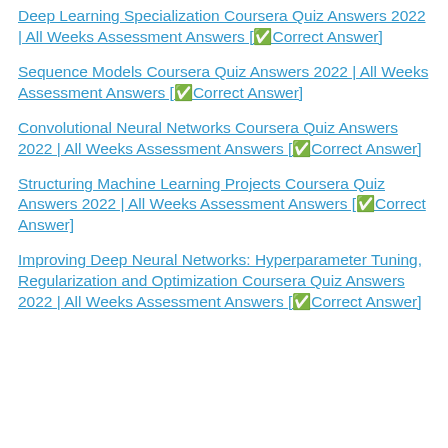Deep Learning Specialization Coursera Quiz Answers 2022 | All Weeks Assessment Answers [✅Correct Answer]
Sequence Models Coursera Quiz Answers 2022 | All Weeks Assessment Answers [✅Correct Answer]
Convolutional Neural Networks Coursera Quiz Answers 2022 | All Weeks Assessment Answers [✅Correct Answer]
Structuring Machine Learning Projects Coursera Quiz Answers 2022 | All Weeks Assessment Answers [✅Correct Answer]
Improving Deep Neural Networks: Hyperparameter Tuning, Regularization and Optimization Coursera Quiz Answers 2022 | All Weeks Assessment Answers [✅Correct Answer]